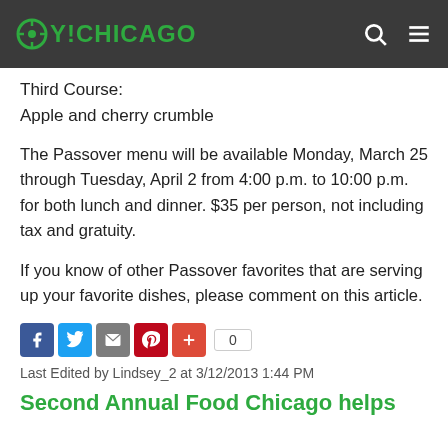OY!CHICAGO
Third Course:
Apple and cherry crumble
The Passover menu will be available Monday, March 25 through Tuesday, April 2 from 4:00 p.m. to 10:00 p.m. for both lunch and dinner. $35 per person, not including tax and gratuity.
If you know of other Passover favorites that are serving up your favorite dishes, please comment on this article.
[Figure (other): Social sharing buttons: Facebook, Twitter, Email, Pinterest, Plus, and share count showing 0]
Last Edited by Lindsey_2 at 3/12/2013 1:44 PM
Second Annual Food Chicago helps